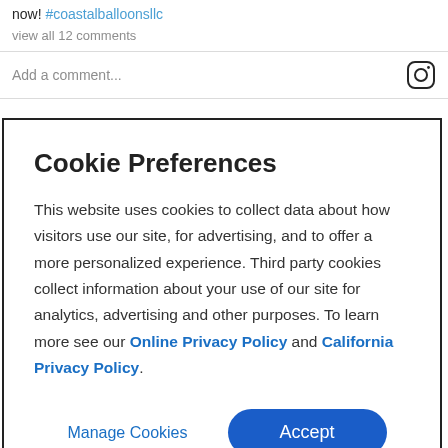now! #coastalballoonsllc
view all 12 comments
Add a comment...
Cookie Preferences
This website uses cookies to collect data about how visitors use our site, for advertising, and to offer a more personalized experience. Third party cookies collect information about your use of our site for analytics, advertising and other purposes. To learn more see our Online Privacy Policy and California Privacy Policy.
Manage Cookies
Accept